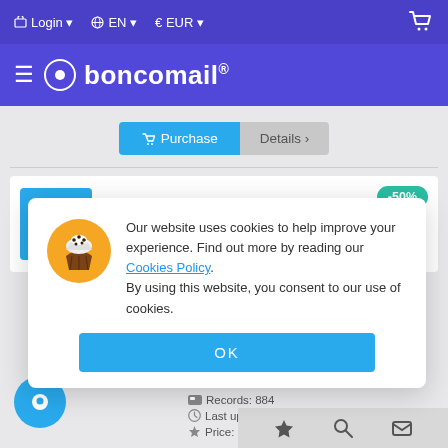Login  EN  EUR
boncomail®
Purchase | Details
Museums and art galleries
Czechia - All regions
-50%
Our website uses cookies to help improve your experience. Find out more by reading our Cookies Policy.
By using this website, you consent to our use of cookies.
OK
Records: 884
Last update: 12 Feb 2022
Price: €203.32  €101.66